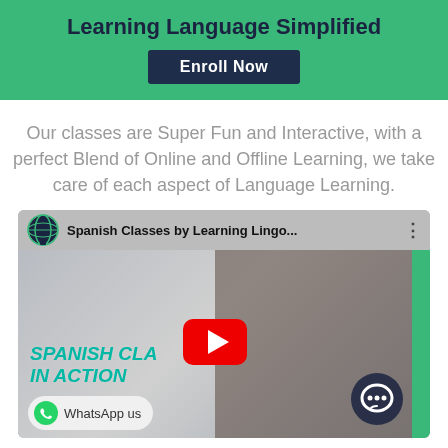Learning Language Simplified
Enroll Now
Our classes are Super Fun and Interactive, with a perfect Blend of Online and Offline Learning, we take care of each aspect of Language Learning.
[Figure (screenshot): YouTube video thumbnail showing 'Spanish Classes by Learning Lingo...' with a woman presenter, YouTube play button, 'SPANISH CLA... IN ACTION' text overlay in teal, WhatsApp chat button at bottom, and a green chat bubble icon at bottom right.]